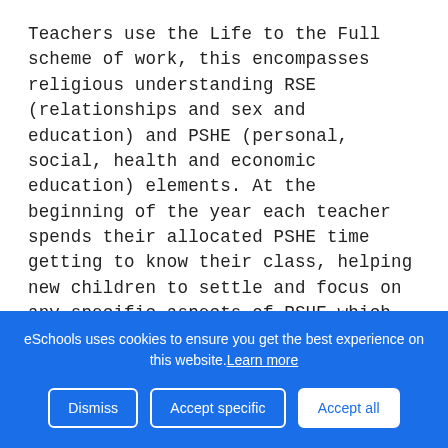Teachers use the Life to the Full scheme of work, this encompasses religious understanding RSE (relationships and sex and education) and PSHE (personal, social, health and economic education) elements. At the beginning of the year each teacher spends their allocated PSHE time getting to know their class, helping new children to settle and focus on any specific aspects of PSHE which will benefit that class. Each class also chooses their school council members which is a great opportunity to talk about and see in action democracy.
In fact, the eSchools scheme...
eSchools uses cookies to ensure you get the best experience on this website. Learn more
Dismiss  Accept specific  Accept all